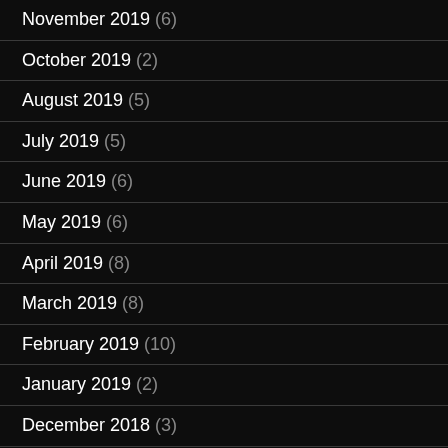November 2019 (6)
October 2019 (2)
August 2019 (5)
July 2019 (5)
June 2019 (6)
May 2019 (6)
April 2019 (8)
March 2019 (8)
February 2019 (10)
January 2019 (2)
December 2018 (3)
November 2018 (3)
October 2018 (4)